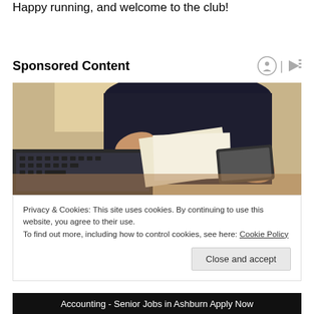Happy running, and welcome to the club!
Sponsored Content
[Figure (photo): Person in dark clothing working at a desk with a laptop keyboard, papers, and a tablet/smartphone visible on a wooden desk surface.]
Privacy & Cookies: This site uses cookies. By continuing to use this website, you agree to their use.
To find out more, including how to control cookies, see here: Cookie Policy
Close and accept
Accounting - Senior Jobs in Ashburn Apply Now